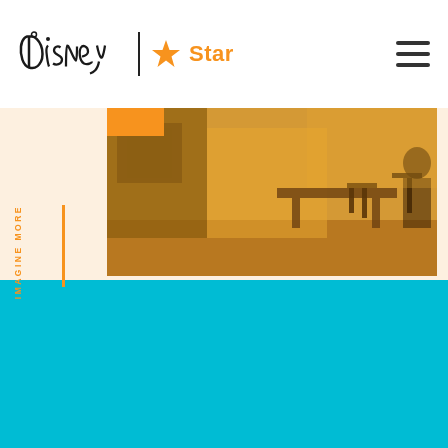[Figure (logo): Disney | Star logo with hamburger menu on the right]
[Figure (photo): Orange-tinted interior photo showing what appears to be a classroom or cafeteria scene with tables and chairs]
IMAGINE MORE
[Figure (other): Solid teal/cyan colored section filling the bottom half of the page]